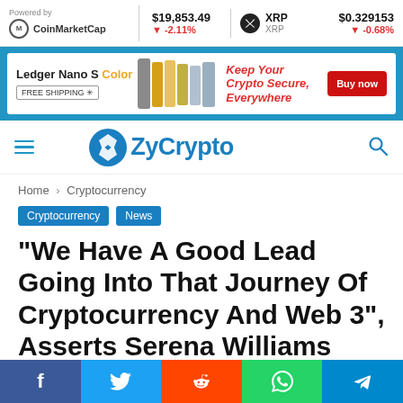Powered by CoinMarketCap | $19,853.49 ▼-2.11% | XRP XRP | $0.329153 ▼-0.68%
[Figure (infographic): Ledger Nano S Color advertisement banner with colorful hardware wallets, 'Keep Your Crypto Secure, Everywhere' text, FREE SHIPPING badge, and Buy now red button]
[Figure (logo): ZyCrypto website logo with blue lightning bolt circle icon and blue ZyCrypto wordmark, hamburger menu and search icon]
Home › Cryptocurrency
Cryptocurrency  News
“We Have A Good Lead Going Into That Journey Of Cryptocurrency And Web 3”, Asserts Serena Williams